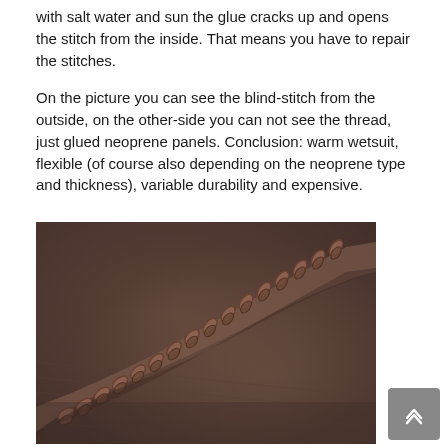with salt water and sun the glue cracks up and opens the stitch from the inside. That means you have to repair the stitches.
On the picture you can see the blind-stitch from the outside, on the other-side you can not see the thread, just glued neoprene panels. Conclusion: warm wetsuit, flexible (of course also depending on the neoprene type and thickness), variable durability and expensive.
[Figure (photo): Close-up photograph of a blind-stitch seam on neoprene wetsuit material, showing the stitching pattern on a brownish-grey neoprene surface. The stitch forms a curved line with interlocked loops visible.]